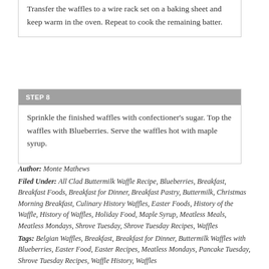Transfer the waffles to a wire rack set on a baking sheet and keep warm in the oven. Repeat to cook the remaining batter.
STEP 8
Sprinkle the finished waffles with confectioner's sugar. Top the waffles with Blueberries. Serve the waffles hot with maple syrup.
Author: Monte Mathews
Filed Under: All Clad Buttermilk Waffle Recipe, Blueberries, Breakfast, Breakfast Foods, Breakfast for Dinner, Breakfast Pastry, Buttermilk, Christmas Morning Breakfast, Culinary History Waffles, Easter Foods, History of the Waffle, History of Waffles, Holiday Food, Maple Syrup, Meatless Meals, Meatless Mondays, Shrove Tuesday, Shrove Tuesday Recipes, Waffles
Tags: Belgian Waffles, Breakfast, Breakfast for Dinner, Buttermilk Waffles with Blueberries, Easter Food, Easter Recipes, Meatless Mondays, Pancake Tuesday, Shrove Tuesday Recipes, Waffle History, Waffles